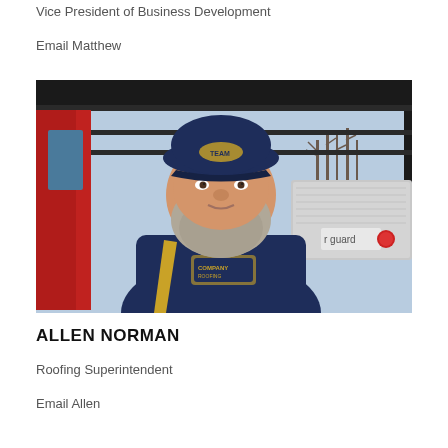Vice President of Business Development
Email Matthew
[Figure (photo): Professional photo of Allen Norman, a heavyset man with a large beard wearing a navy blue and gold hoodie and a navy baseball cap, standing in front of a red vehicle with a metal rack and truck bed toolbox in an outdoor winter setting.]
ALLEN NORMAN
Roofing Superintendent
Email Allen